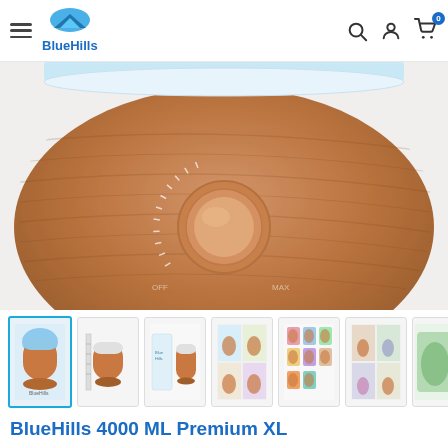BlueHills (navigation header with hamburger menu, logo, search, account, cart icons)
[Figure (photo): Close-up photo of a BlueHills wood-grain humidifier diffuser showing the front panel with a rotary dial knob, set against a light gray background. A blue light glows from the top.]
[Figure (photo): Row of product thumbnail images: (1) humidifier with blue light - selected/active, (2) humidifier with ruler, (3) humidifier components laid out, (4) humidifier in various room settings, (5) humidifier color light options, (6) lifestyle use images, (7) partially visible thumbnail]
BlueHills 4000 ML Premium XL